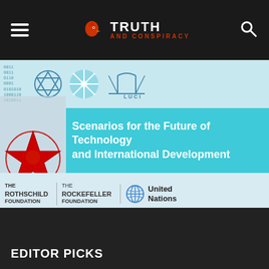TRUTH AND CONSPIRACY
[Figure (illustration): Composite image showing Rothschild Foundation, Rockefeller Foundation, and United Nations logos alongside a Satanic star symbol and the text 'Scenarios for the Future of Technology and International Development' on a teal background. Top band shows various symbols including Star of David, digital codes, a snowflake, and a bridge.]
"No one will enter the New World Order unless he or she will make a pledge to worship Lucifer. No one will enter the...
EDITOR PICKS